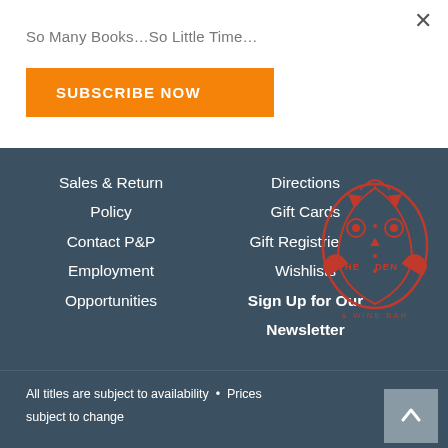×
So Many Books…So Little Time…
SUBSCRIBE NOW
Sales & Return Policy
Contact P&P
Employment Opportunities
Directions
Gift Cards
Gift Registries & Wishlists
Sign Up for Our Newsletter
[Figure (logo): The Den & Wine Bar logo — red illustrated owl reading a book with text THE DEN and & WINE BAR]
All titles are subject to availability • Prices subject to change